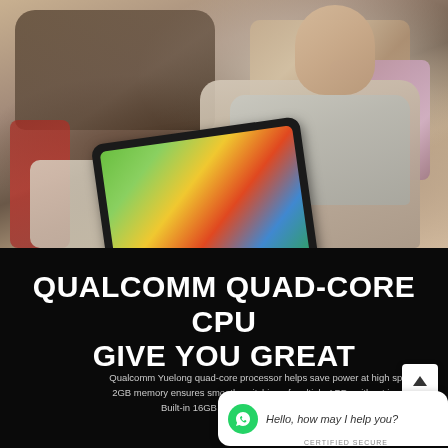[Figure (photo): Child sitting on a sofa/couch using a tablet device, playing a colorful game. The child is wearing a grey t-shirt and light pants. A dark leather sofa and cushions/blanket are visible in the background.]
QUALCOMM QUAD-CORE CPU GIVE YOU GREAT
Qualcomm Yuelong quad-core processor helps save power at high speed. 2GB memory ensures smooth switching of multiple APPs without jamming. Built-in 16GB flash memory space, maximum sup...
[Figure (other): WhatsApp chat widget overlay with green WhatsApp logo icon and text 'Hello, how may I help you?' in a white speech bubble. Also shows a scroll-up arrow button and CERTIFIED SECURE text.]